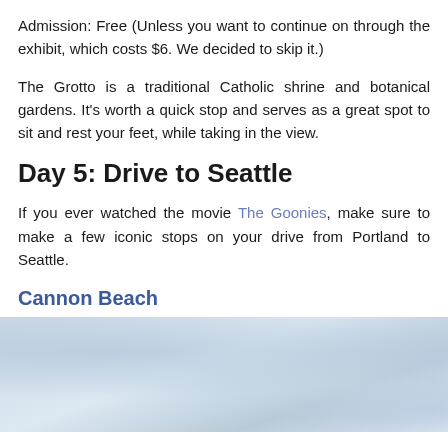Admission: Free (Unless you want to continue on through the exhibit, which costs $6. We decided to skip it.)
The Grotto is a traditional Catholic shrine and botanical gardens. It's worth a quick stop and serves as a great spot to sit and rest your feet, while taking in the view.
Day 5: Drive to Seattle
If you ever watched the movie The Goonies, make sure to make a few iconic stops on your drive from Portland to Seattle.
Cannon Beach
[Figure (photo): Aerial or close-up photo of ocean waves with blue-white water and foam, likely Cannon Beach coastline]